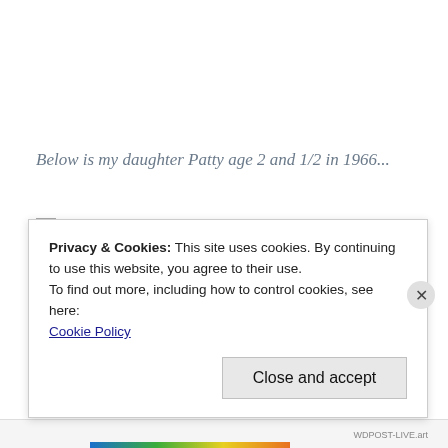Below is my daughter Patty age 2 and 1/2 in 1966...
[Figure (photo): Broken image placeholder labeled '101_3819']
... and then her daughter (my
Privacy & Cookies: This site uses cookies. By continuing to use this website, you agree to their use.
To find out more, including how to control cookies, see here:
Cookie Policy
Close and accept